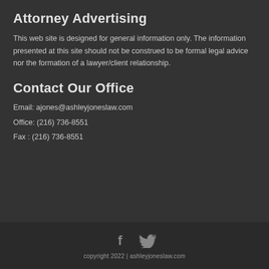Attorney Advertising
This web site is designed for general information only. The information presented at this site should not be construed to be formal legal advice nor the formation of a lawyer/client relationship.
Contact Our Office
Email: ajones@ashleyjoneslaw.com
Office: (216) 736-8551
Fax : (216) 736-8551
[Figure (illustration): Social media icons: Facebook (f) and Twitter (bird) icons in grey]
copyright 2022 | ashleyjoneslaw.com